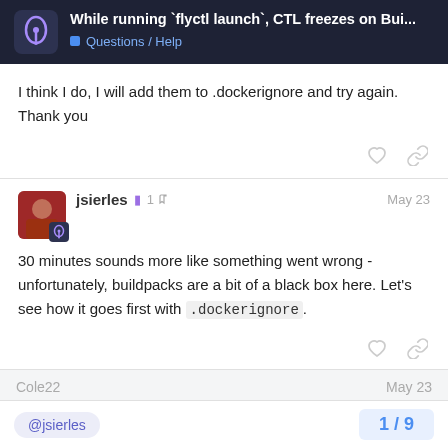While running `flyctl launch`, CTL freezes on Bui... | Questions / Help
I think I do, I will add them to .dockerignore and try again. Thank you
jsierles  1  May 23
30 minutes sounds more like something went wrong - unfortunately, buildpacks are a bit of a black box here. Let's see how it goes first with .dockerignore.
Cole22  May 23
@jsierles
1 / 9